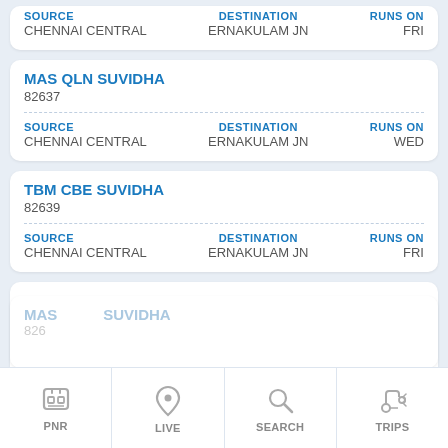SOURCE: CHENNAI CENTRAL | DESTINATION: ERNAKULAM JN | RUNS ON: FRI
MAS QLN SUVIDHA 82637 | SOURCE: CHENNAI CENTRAL | DESTINATION: ERNAKULAM JN | RUNS ON: WED
TBM CBE SUVIDHA 82639 | SOURCE: CHENNAI CENTRAL | DESTINATION: ERNAKULAM JN | RUNS ON: FRI
MAS CBE SUVIDHA 82619 | SOURCE: CHENNAI CENTRAL | DESTINATION: COIMBATORE JN | RUNS ON: SAT
PNR | LIVE | SEARCH | TRIPS